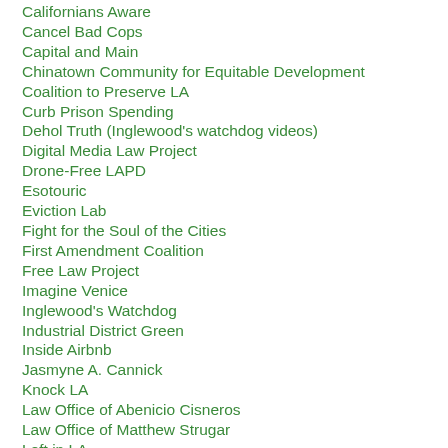Californians Aware
Cancel Bad Cops
Capital and Main
Chinatown Community for Equitable Development
Coalition to Preserve LA
Curb Prison Spending
Dehol Truth (Inglewood's watchdog videos)
Digital Media Law Project
Drone-Free LAPD
Esotouric
Eviction Lab
Fight for the Soul of the Cities
First Amendment Coalition
Free Law Project
Imagine Venice
Inglewood's Watchdog
Industrial District Green
Inside Airbnb
Jasmyne A. Cannick
Knock LA
Law Office of Abenicio Cisneros
Law Office of Matthew Strugar
Left in LA
Legal Aid Foundation of Los Angeles
LA as Subject
Los Angeles Catholic Worker